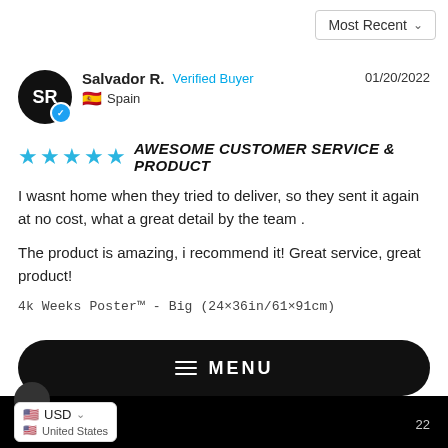Most Recent ∨
Salvador R.  Verified Buyer  01/20/2022  🇪🇸 Spain
AWESOME CUSTOMER SERVICE & PRODUCT
I wasnt home when they tried to deliver, so they sent it again at no cost, what a great detail by the team .
The product is amazing, i recommend it! Great service, great product!
4k Weeks Poster™ - Big (24×36in/61×91cm)
Share   Was this helpful?  👍 1  👎 0
MENU
USD  United States